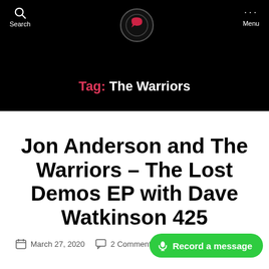Search  Menu
Tag: The Warriors
Jon Anderson and The Warriors – The Lost Demos EP with Dave Watkinson 425
March 27, 2020  2 Comments
Record a message